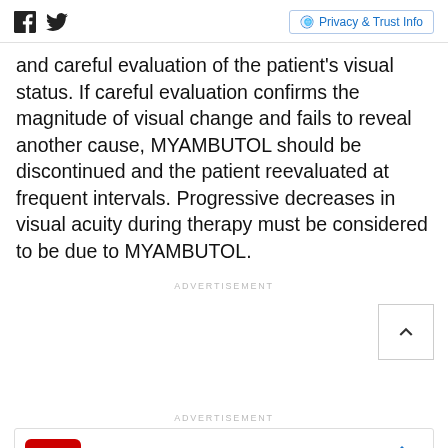Social icons and Privacy & Trust Info
and careful evaluation of the patient's visual status. If careful evaluation confirms the magnitude of visual change and fails to reveal another cause, MYAMBUTOL should be discontinued and the patient reevaluated at frequent intervals. Progressive decreases in visual acuity during therapy must be considered to be due to MYAMBUTOL.
ADVERTISEMENT
ADVERTISEMENT
[Figure (other): CVS Photo advertisement banner: Photo Deals At CVS® CVS Photo with CVS pharmacy logo and navigation arrow icon]